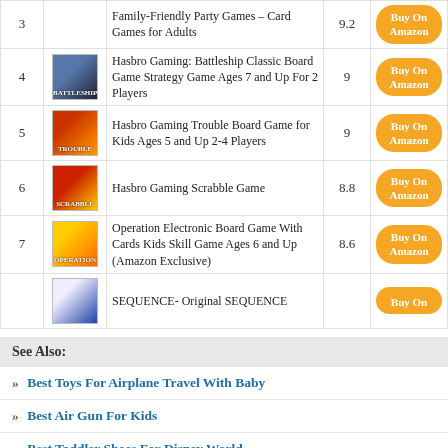| # | Image | Name | Score | Link |
| --- | --- | --- | --- | --- |
| 3 |  | Family-Friendly Party Games - Card Games for Adults | 9.2 | Buy On Amazon |
| 4 |  | Hasbro Gaming: Battleship Classic Board Game Strategy Game Ages 7 and Up For 2 Players | 9 | Buy On Amazon |
| 5 |  | Hasbro Gaming Trouble Board Game for Kids Ages 5 and Up 2-4 Players | 9 | Buy On Amazon |
| 6 |  | Hasbro Gaming Scrabble Game | 8.8 | Buy On Amazon |
| 7 |  | Operation Electronic Board Game With Cards Kids Skill Game Ages 6 and Up (Amazon Exclusive) | 8.6 | Buy On Amazon |
| 8 |  | SEQUENCE- Original SEQUENCE |  | Buy On |
See Also:
Best Toys For Airplane Travel With Baby
Best Air Gun For Kids
Best Toddler Shoes For Disney World